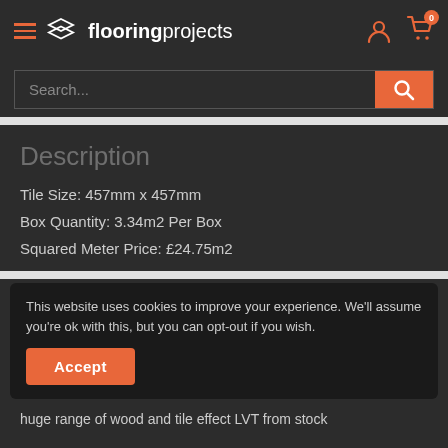[Figure (screenshot): flooringprojects website header with hamburger menu icon, logo, user icon, and cart icon with badge showing 0]
[Figure (screenshot): Search bar with placeholder text 'Search...' and orange search button with magnifying glass icon]
Description
Tile Size: 457mm x 457mm
Box Quantity: 3.34m2 Per Box
Squared Meter Price: £24.75m2
This website uses cookies to improve your experience. We'll assume you're ok with this, but you can opt-out if you wish.
Accept
huge range of wood and tile effect LVT from stock